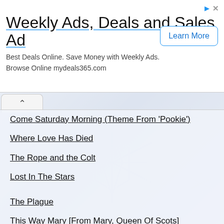[Figure (screenshot): Advertisement banner for Weekly Ads, Deals and Sales with Learn More button]
Weekly Ads, Deals and Sales Ad
Best Deals Online. Save Money with Weekly Ads. Browse Online mydeals365.com
Come Saturday Morning (Theme From 'Pookie')
Where Love Has Died
The Rope and the Colt
Lost In The Stars
The Plague
This Way Mary [From Mary, Queen Of Scots]
Too Young
I Don't Want To Hear It Anymore
We Could Be Flying
Jesse
Such a Small Love